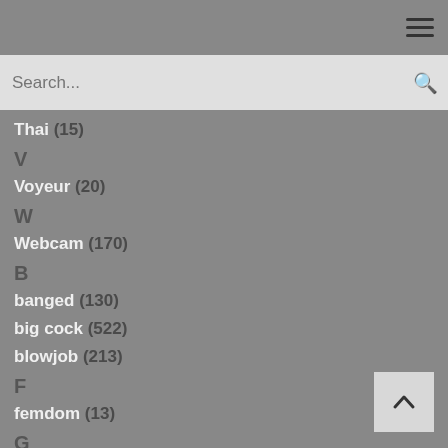Thai (15)
V
Voyeur (20)
W
Webcam (170)
B
banged (130)
big cock (522)
blowjob (213)
F
femdom (13)
G
girlfriend (185)